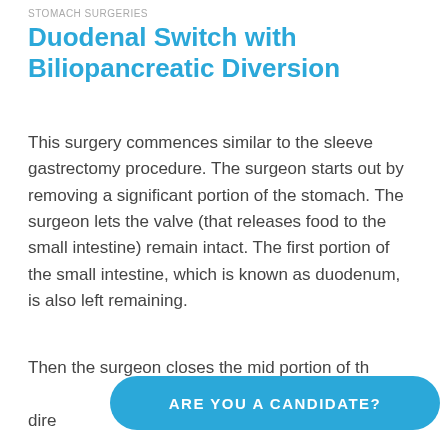STOMACH SURGERIES
Duodenal Switch with Biliopancreatic Diversion
This surgery commences similar to the sleeve gastrectomy procedure. The surgeon starts out by removing a significant portion of the stomach. The surgeon lets the valve (that releases food to the small intestine) remain intact. The first portion of the small intestine, which is known as duodenum, is also left remaining.
Then the surgeon closes the mid portion of the intestine to the duodenum directly. This is known as the duodenal...
ARE YOU A CANDIDATE?